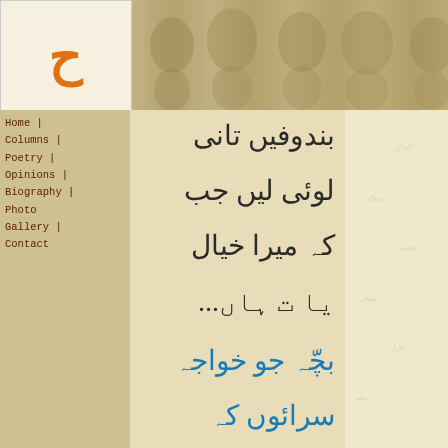[Figure (logo): Orange Urdu character logo in white box]
[Figure (photo): Sepia-toned header banner with silhouettes of people]
Home | Columns | Poetry | Opinions | Biography | Photo Gallery | Contact
بندوفیں تانی
لوئی لیں جب
کہ میرا خیال
یا ت ہاں...
بچّہ جو خواجہ
سرائوں کہ
گھر پیدا ہئوا
وہ تو بھلا وہ